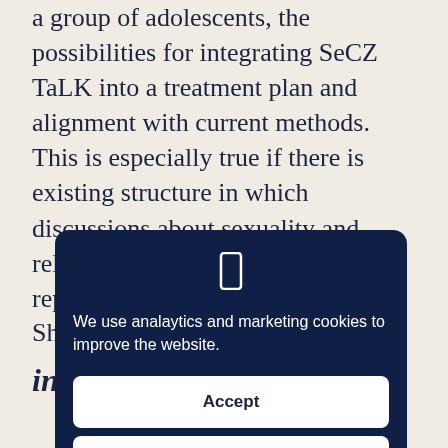a group of adolescents, the possibilities for integrating SeCZ TaLK into a treatment plan and alignment with current methods. This is especially true if there is existing structure in which discussions about sexuality and relationships can take place. A representative... s the... g sex... ca...
She...
in...
We use analaytics and marketing cookies to improve the website.
Accept
Decline
Settings